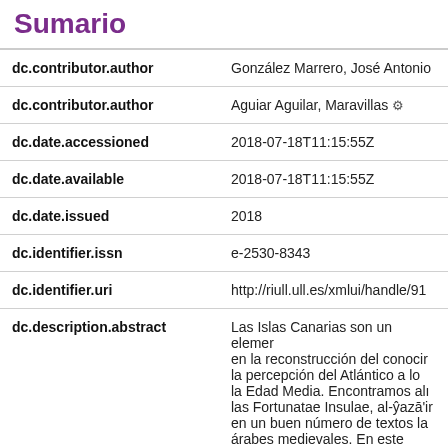Sumario
| Field | Value |
| --- | --- |
| dc.contributor.author | González Marrero, José Antonio |
| dc.contributor.author | Aguiar Aguilar, Maravillas ⚙ |
| dc.date.accessioned | 2018-07-18T11:15:55Z |
| dc.date.available | 2018-07-18T11:15:55Z |
| dc.date.issued | 2018 |
| dc.identifier.issn | e-2530-8343 |
| dc.identifier.uri | http://riull.ull.es/xmlui/handle/91 |
| dc.description.abstract | Las Islas Canarias son un elemer en la reconstrucción del conoci la percepción del Atlántico a lo la Edad Media. Encontramos alı las Fortunatae Insulae, al-ŷazā'ir en un buen número de textos la árabes medievales. En este traba |